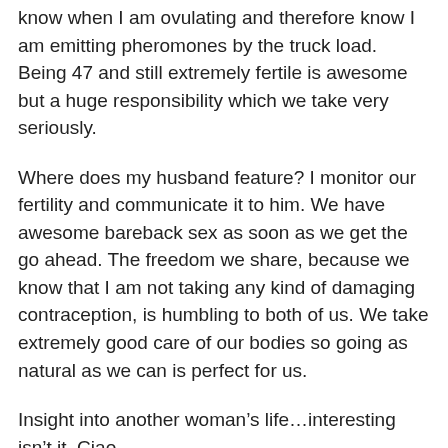know when I am ovulating and therefore know I am emitting pheromones by the truck load. Being 47 and still extremely fertile is awesome but a huge responsibility which we take very seriously.
Where does my husband feature? I monitor our fertility and communicate it to him. We have awesome bareback sex as soon as we get the go ahead. The freedom we share, because we know that I am not taking any kind of damaging contraception, is humbling to both of us. We take extremely good care of our bodies so going as natural as we can is perfect for us.
Insight into another woman’s life…interesting isn’t it. Ciao.